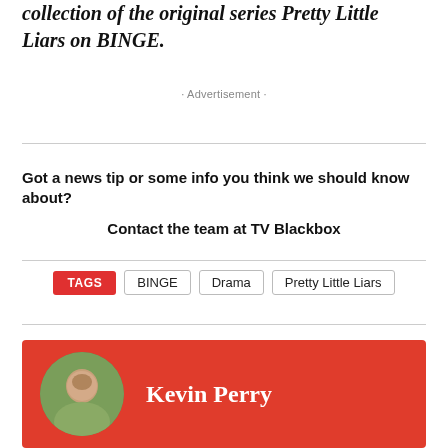collection of the original series Pretty Little Liars on BINGE.
- Advertisement -
Got a news tip or some info you think we should know about?
Contact the team at TV Blackbox
TAGS  BINGE  Drama  Pretty Little Liars
[Figure (other): Author card with red background showing a circular photo of Kevin Perry and his name in white serif font]